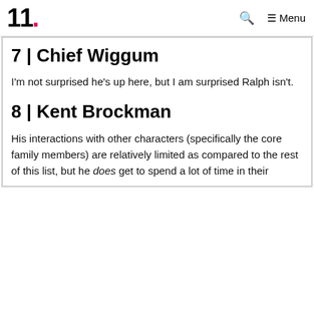11. Menu
7 | Chief Wiggum
I'm not surprised he's up here, but I am surprised Ralph isn't.
8 | Kent Brockman
His interactions with other characters (specifically the core family members) are relatively limited as compared to the rest of this list, but he does get to spend a lot of time in their